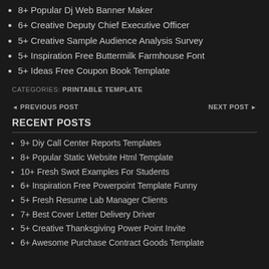8+ Popular Dj Web Banner Maker
6+ Creative Deputy Chief Executive Officer
5+ Creative Sample Audience Analysis Survey
5+ Inspiration Free Buttermilk Farmhouse Font
5+ Ideas Free Coupon Book Template
CATEGORIES: PRINTABLE TEMPLATE
◄ PREVIOUS POST    NEXT POST ►
RECENT POSTS
9+ Diy Call Center Reports Templates
8+ Popular Static Website Html Template
10+ Fresh Swot Examples For Students
6+ Inspiration Free Powerpoint Template Funny
5+ Fresh Resume Lab Manager Clients
7+ Best Cover Letter Delivery Driver
5+ Creative Thanksgiving Power Point Invite
6+ Awesome Purchase Contract Goods Template